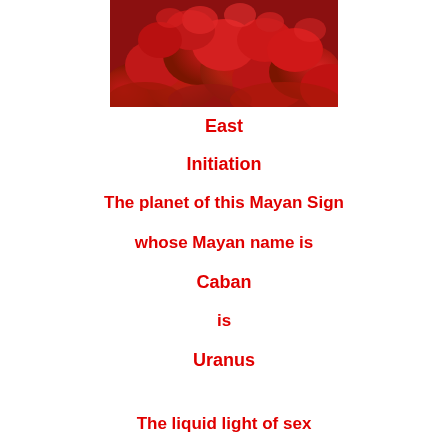[Figure (photo): Close-up photograph of red and orange fluffy bushes or plants, likely kochia or similar ornamental grass, densely packed together with vivid red-orange coloring.]
East
Initiation
The planet of this Mayan Sign
whose Mayan name is
Caban
is
Uranus
The liquid light of sex